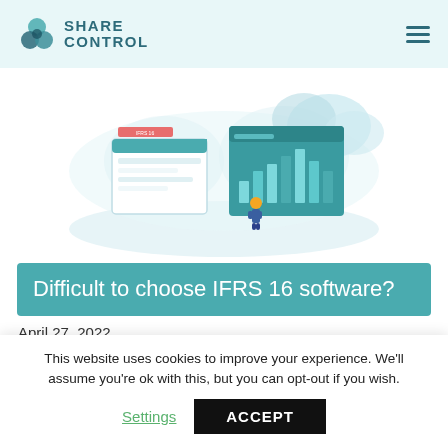SHARE CONTROL
[Figure (illustration): Isometric illustration showing a person interacting with floating financial dashboards and charts in a cloud computing environment, with teal and blue color scheme]
Difficult to choose IFRS 16 software?
April 27, 2022
Difficult to choose IFRS 16 software? Learn and license
This website uses cookies to improve your experience. We'll assume you're ok with this, but you can opt-out if you wish.
Settings   ACCEPT